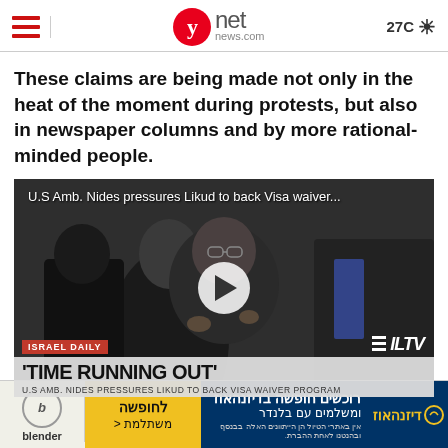ynet news.com | 27C
These claims are being made not only in the heat of the moment during protests, but also in newspaper columns and by more rational-minded people.
[Figure (screenshot): Video thumbnail showing a man speaking at a podium. Overlay text: 'U.S Amb. Nides pressures Likud to back Visa waiver...' Lower bar shows ISRAEL DAILY tag, headline 'TIME RUNNING OUT', subtext 'U.S AMB. NIDES PRESSURES LIKUD TO BACK VISA WAIVER PROGRAM', ILTV logo, Tel Aviv - Israel label. Play button in center.]
These claims are a sign of disproportionate hysteria at best
[Figure (other): Advertisement banner: Blender logo on left, yellow box with Hebrew text, blue area with Hebrew text and Dinamoat logo]